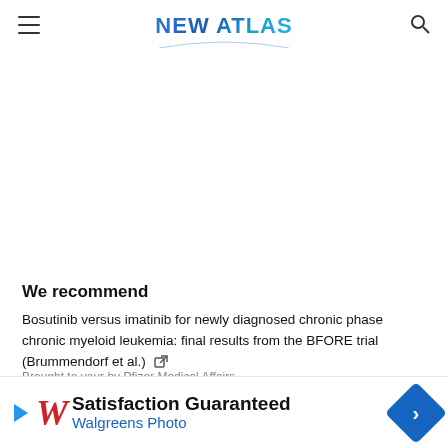NEW ATLAS
We recommend
Bosutinib versus imatinib for newly diagnosed chronic phase chronic myeloid leukemia: final results from the BFORE trial (Brummendorf et al.)
Brought to your by Pfizer Medical Affairs
Alzheimer's Drug Discovery Foundation Awards $1.9M in Grants for Diagno...
[Figure (other): Walgreens Photo advertisement banner: Satisfaction Guaranteed - Walgreens Photo]